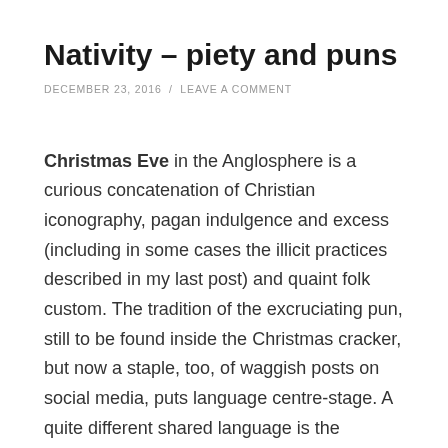Nativity – piety and puns
DECEMBER 23, 2016  /  LEAVE A COMMENT
Christmas Eve in the Anglosphere is a curious concatenation of Christian iconography, pagan indulgence and excess (including in some cases the illicit practices described in my last post) and quaint folk custom. The tradition of the excruciating pun, still to be found inside the Christmas cracker, but now a staple, too, of waggish posts on social media, puts language centre-stage. A quite different shared language is the repertoire of terms used to tell the Christmas story